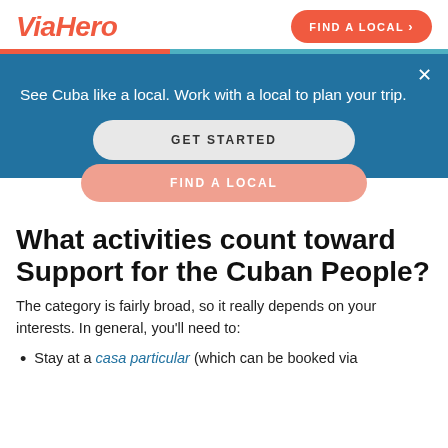ViaHero
[Figure (screenshot): ViaHero website screenshot showing header with logo and 'Find a Local' button, a teal popup banner saying 'See Cuba like a local. Work with a local to plan your trip.' with a 'Get Started' button, and a 'Find a Local' button below.]
What activities count toward Support for the Cuban People?
The category is fairly broad, so it really depends on your interests. In general, you’ll need to:
Stay at a casa particular (which can be booked via